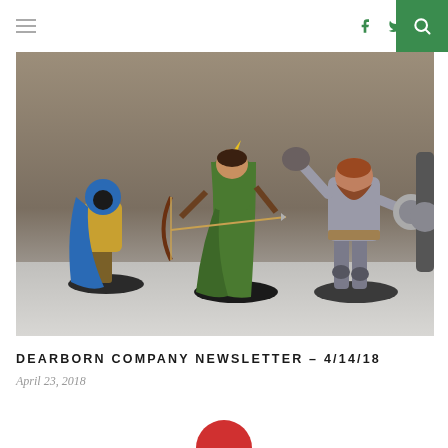Navigation header with hamburger menu, social icons (facebook, twitter, instagram), and search button
[Figure (photo): Photograph of painted fantasy miniature figures on black bases against a grey/brown background. Figures include a blue-hooded rogue, an archer in green, and a warrior in grey armor with a shield.]
DEARBORN COMPANY NEWSLETTER – 4/14/18
April 23, 2018